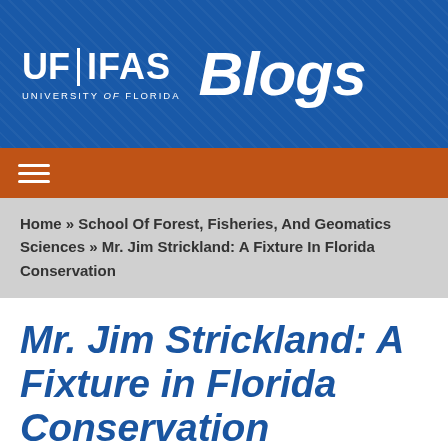UF|IFAS UNIVERSITY of FLORIDA Blogs
Home » School Of Forest, Fisheries, And Geomatics Sciences » Mr. Jim Strickland: A Fixture In Florida Conservation
Mr. Jim Strickland: A Fixture in Florida Conservation
Total Share 0   Email 0